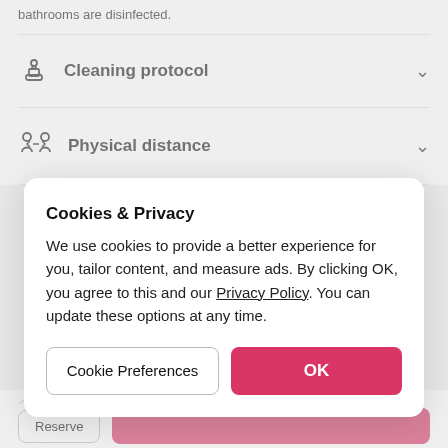bathrooms are disinfected.
Cleaning protocol
Physical distance
Cookies & Privacy
We use cookies to provide a better experience for you, tailor content, and measure ads. By clicking OK, you agree to this and our Privacy Policy. You can update these options at any time.
Cookie Preferences
OK